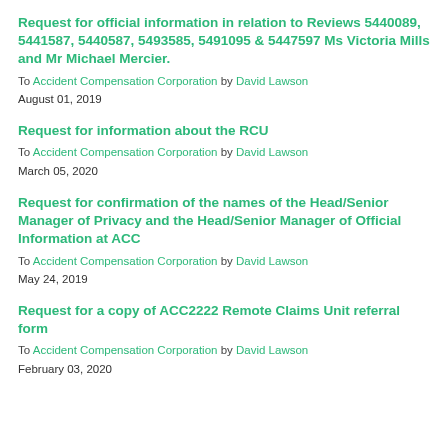Request for official information in relation to Reviews 5440089, 5441587, 5440587, 5493585, 5491095 & 5447597 Ms Victoria Mills and Mr Michael Mercier.
To Accident Compensation Corporation by David Lawson
August 01, 2019
Request for information about the RCU
To Accident Compensation Corporation by David Lawson
March 05, 2020
Request for confirmation of the names of the Head/Senior Manager of Privacy and the Head/Senior Manager of Official Information at ACC
To Accident Compensation Corporation by David Lawson
May 24, 2019
Request for a copy of ACC2222 Remote Claims Unit referral form
To Accident Compensation Corporation by David Lawson
February 03, 2020